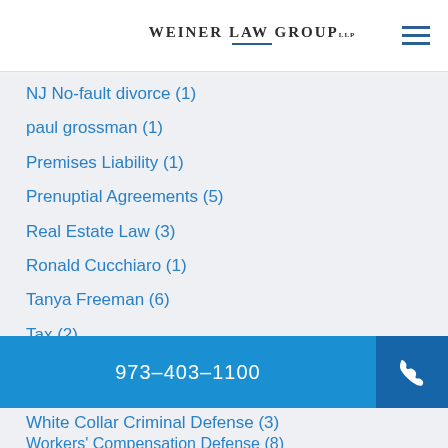WEINER LAW GROUP LLP
NJ No-fault divorce (1)
paul grossman (1)
Premises Liability (1)
Prenuptial Agreements (5)
Real Estate Law (3)
Ronald Cucchiaro (1)
Tanya Freeman (6)
Tax (2)
Uncategorized (16)
Weiner Law Group (29)
Weiner Law Group News (7)
973-403-1100
White Collar Criminal Defense (3)
Workers' Compensation Defense (8)